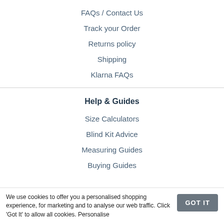FAQs / Contact Us
Track your Order
Returns policy
Shipping
Klarna FAQs
Help & Guides
Size Calculators
Blind Kit Advice
Measuring Guides
Buying Guides
We use cookies to offer you a personalised shopping experience, for marketing and to analyse our web traffic. Click 'Got It' to allow all cookies. Personalise